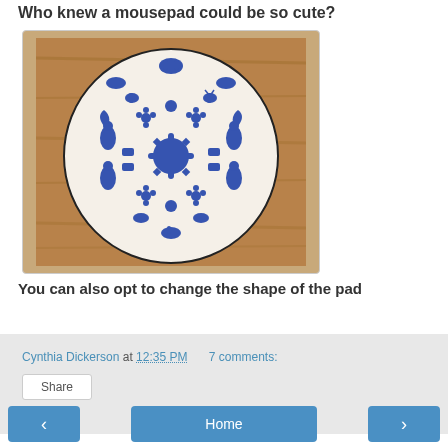Who knew a mousepad could be so cute?
[Figure (photo): A round mousepad with blue and white folk art pattern featuring birds, deer, and floral motifs, placed on a wooden surface]
You can also opt to change the shape of the pad
Cynthia Dickerson at 12:35 PM   7 comments:
Share
< Home >